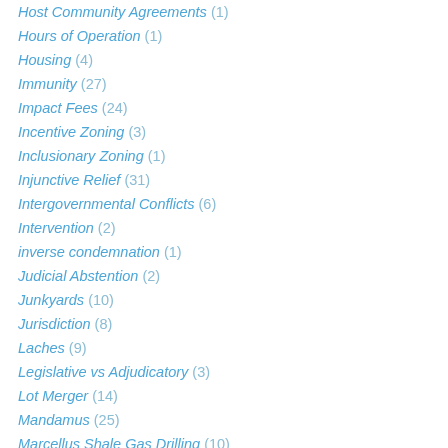Host Community Agreements (1)
Hours of Operation (1)
Housing (4)
Immunity (27)
Impact Fees (24)
Incentive Zoning (3)
Inclusionary Zoning (1)
Injunctive Relief (31)
Intergovernmental Conflicts (6)
Intervention (2)
inverse condemnation (1)
Judicial Abstention (2)
Junkyards (10)
Jurisdiction (8)
Laches (9)
Legislative vs Adjudicatory (3)
Lot Merger (14)
Mandamus (25)
Marcellus Shale Gas Drilling (10)
Mediation (1)